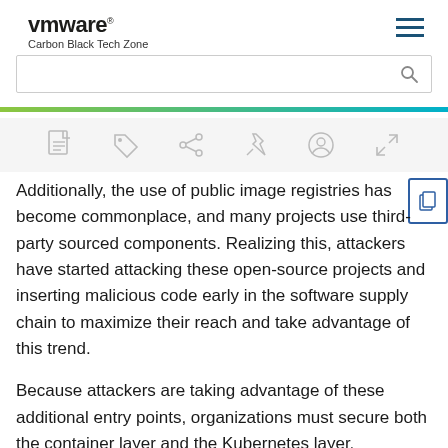VMware Carbon Black Tech Zone
Additionally, the use of public image registries has become commonplace, and many projects use third-party sourced components. Realizing this, attackers have started attacking these open-source projects and inserting malicious code early in the software supply chain to maximize their reach and take advantage of this trend.
Because attackers are taking advantage of these additional entry points, organizations must secure both the container layer and the Kubernetes layer.